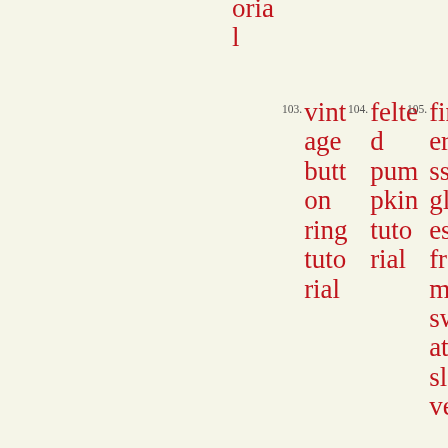orial (partial, top)
103. vintage button ring tutorial
104. felted pumpkin tutorial
105. fingerless gloves from sweater sleeves
106. deep cowl neck scarf
107. deep cowl neck scarf
108. Displaying Your Kids Coll (partial)